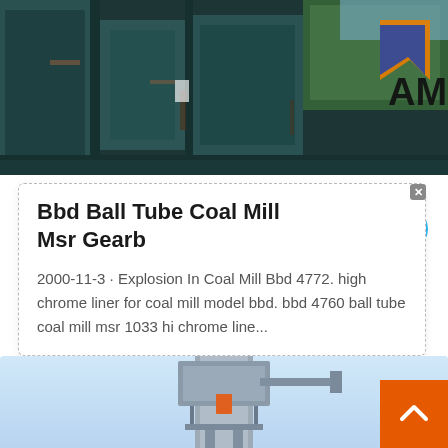[Figure (photo): Industrial coal mill equipment photograph with large metal structures, painted teal/blue-green, with an orange and blue logo partially visible in the upper right]
Bbd Ball Tube Coal Mill Msr Gearb
2000-11-3 · Explosion In Coal Mill Bbd 4772. high chrome liner for coal mill model bbd. bbd 4760 ball tube coal mill msr 1033 hi chrome line...
[Figure (photo): Industrial machinery photograph showing a tall vertical structure/mill against a light blue sky background, bottom portion of page]